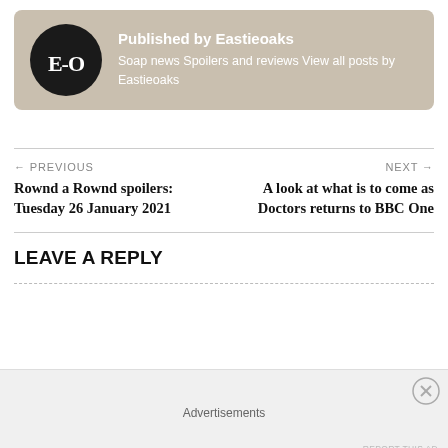[Figure (logo): Eastieoaks logo: black circle with white serif text E-O, on a tan/beige background author card]
Published by Eastieoaks
Soap news Spoilers and reviews View all posts by Eastieoaks
← PREVIOUS
Rownd a Rownd spoilers: Tuesday 26 January 2021
NEXT →
A look at what is to come as Doctors returns to BBC One
LEAVE A REPLY
Advertisements